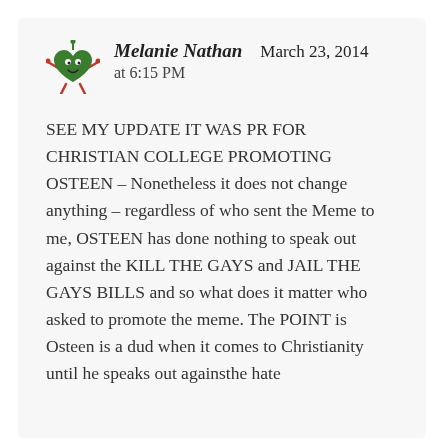[Figure (illustration): Green cartoon heart-shaped character with antenna and legs (avatar/logo)]
Melanie Nathan   March 23, 2014
at 6:15 PM
SEE MY UPDATE IT WAS PR FOR CHRISTIAN COLLEGE PROMOTING OSTEEN – Nonetheless it does not change anything – regardless of who sent the Meme to me, OSTEEN has done nothing to speak out against the KILL THE GAYS and JAIL THE GAYS BILLS and so what does it matter who asked to promote the meme. The POINT is Osteen is a dud when it comes to Christianity until he speaks out againsthe hate